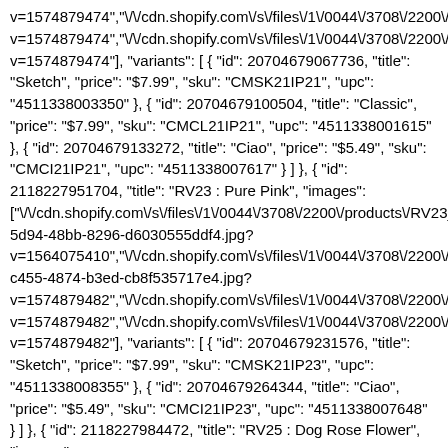v=1574879474","\/\/cdn.shopify.com\/s\/files\/1\/0044\/3708\/2200\/p v=1574879474","\/\/cdn.shopify.com\/s\/files\/1\/0044\/3708\/2200\/p v=1574879474"], "variants": [ { "id": 20704679067736, "title": "Sketch", "price": "$7.99", "sku": "CMSK21IP21", "upc": "4511338003350" }, { "id": 20704679100504, "title": "Classic", "price": "$7.99", "sku": "CMCL21IP21", "upc": "4511338001615" }, { "id": 20704679133272, "title": "Ciao", "price": "$5.49", "sku": "CMCI21IP21", "upc": "4511338007617" } ] }, { "id": 2118227951704, "title": "RV23 : Pure Pink", "images": ["\/\/cdn.shopify.com\/s\/files\/1\/0044\/3708\/2200\/products\/RV23_ 5d94-48bb-8296-d6030555ddf4.jpg? v=1564075410","\/\/cdn.shopify.com\/s\/files\/1\/0044\/3708\/2200\/p c455-4874-b3ed-cb8f535717e4.jpg? v=1574879482","\/\/cdn.shopify.com\/s\/files\/1\/0044\/3708\/2200\/p v=1574879482","\/\/cdn.shopify.com\/s\/files\/1\/0044\/3708\/2200\/p v=1574879482"], "variants": [ { "id": 20704679231576, "title": "Sketch", "price": "$7.99", "sku": "CMSK21IP23", "upc": "4511338008355" }, { "id": 20704679264344, "title": "Ciao", "price": "$5.49", "sku": "CMCI21IP23", "upc": "4511338007648" } ] }, { "id": 2118227984472, "title": "RV25 : Dog Rose Flower", "images": ["\/\/cdn.shopify.com\/s\/files\/1\/0044\/3708\/2200\/products\/RV25_ 8f1a-4fdb-bd43-7df6e530105b.jpg? v=1564075410","\/\/cdn.shopify.com\/s\/files\/1\/0044\/3708\/2200\/p 97fd-4120-945e-fab6c5be8c05.jpg?